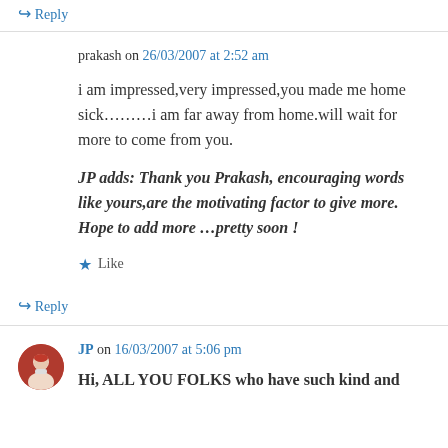↪ Reply
prakash on 26/03/2007 at 2:52 am
i am impressed,very impressed,you made me home sick………i am far away from home.will wait for more to come from you.
JP adds: Thank you Prakash, encouraging words like yours,are the motivating factor to give more. Hope to add more …pretty soon !
★ Like
↪ Reply
JP on 16/03/2007 at 5:06 pm
Hi, ALL YOU FOLKS who have such kind and